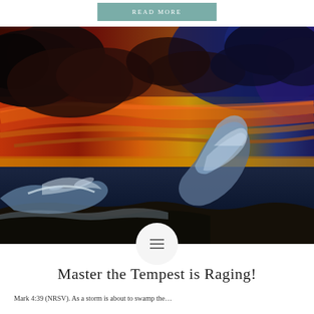READ MORE
[Figure (photo): Dramatic HDR photograph of a stormy ocean scene with crashing waves, dark storm clouds, and a vivid sunset sky transitioning from deep blue/purple on the right to fiery red, orange, and gold in the center and left.]
[Figure (other): Small circular white icon with three horizontal lines (hamburger/menu icon) overlaid at the bottom center of the photo.]
Master the Tempest is Raging!
Mark 4:39 (NRSV). As a storm is about to swamp the...